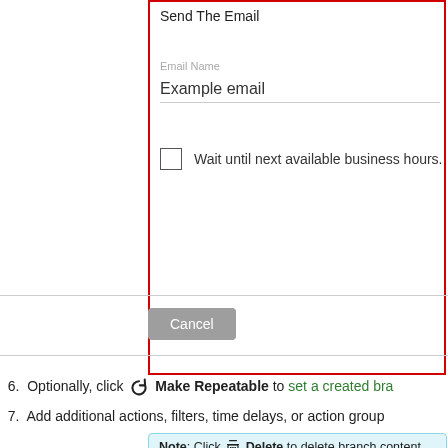[Figure (screenshot): UI panel showing 'Send The Email' form with Email Name field containing 'Example email', a checkbox labeled 'Wait until next available business hours.', and a Cancel button. The form panel is outlined with a red border.]
6. Optionally, click ↻ Make Repeatable to set a created bra…
7. Add additional actions, filters, time delays, or action group…
Note: Click 🗑 Delete to delete branch content. Delete… workflow will delete all content directly following it.